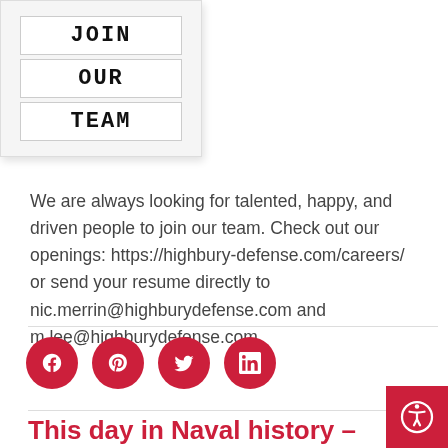[Figure (photo): A letter board sign showing 'JOIN OUR TEAM' in bold block letters on white background]
We are always looking for talented, happy, and driven people to join our team. Check out our openings: https://highbury-defense.com/careers/ or send your resume directly to nic.merrin@highburydefense.com and m.lee@highburydefense.com.
[Figure (infographic): Social media icon buttons: Facebook, Pinterest, Twitter, LinkedIn — all in red circles]
This day in Naval history –